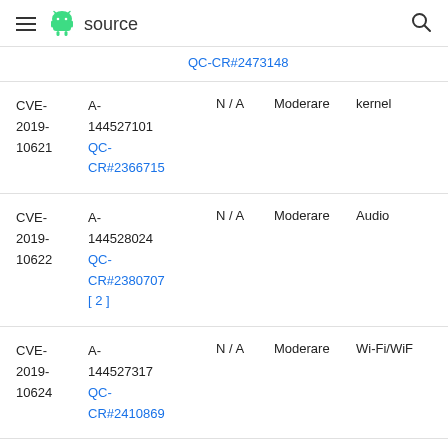≡ 🤖 source 🔍
| CVE | References | Type | Severity | Component |
| --- | --- | --- | --- | --- |
| CVE-2019-10621 | A-144527101 QC-CR#2366715 | N/A | Moderare | kernel |
| CVE-2019-10622 | A-144528024 QC-CR#2380707 [2] | N/A | Moderare | Audio |
| CVE-2019-10624 | A-144527317 QC-CR#2410869 | N/A | Moderare | Wi-Fi/WiFi |